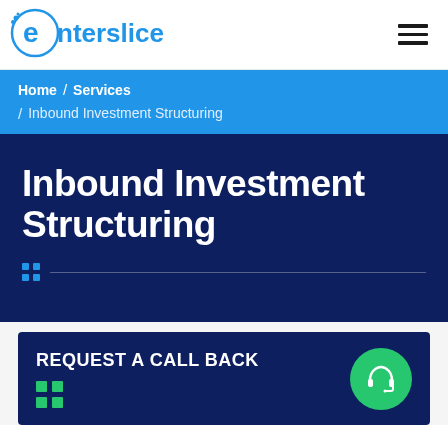[Figure (logo): Enterslice logo with circular E icon in blue and teal, with blue text 'Enterslice']
Home / Services / Inbound Investment Structuring
Inbound Investment Structuring
REQUEST A CALL BACK